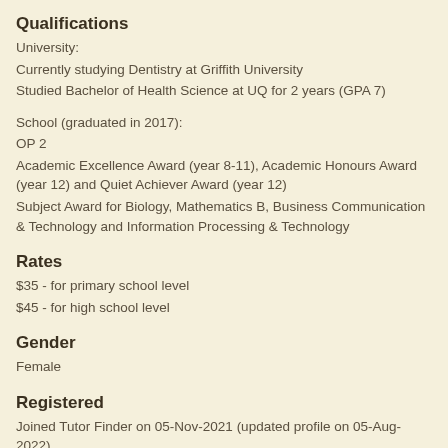Qualifications
University:
Currently studying Dentistry at Griffith University
Studied Bachelor of Health Science at UQ for 2 years (GPA 7)
School (graduated in 2017):
OP 2
Academic Excellence Award (year 8-11), Academic Honours Award (year 12) and Quiet Achiever Award (year 12)
Subject Award for Biology, Mathematics B, Business Communication & Technology and Information Processing & Technology
Rates
$35 - for primary school level
$45 - for high school level
Gender
Female
Registered
Joined Tutor Finder on 05-Nov-2021 (updated profile on 05-Aug-2022)